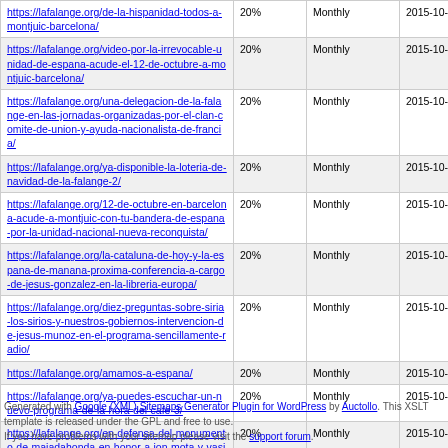| URL | Priority | Change Freq | LastMod |
| --- | --- | --- | --- |
| https://lafalange.org/de-la-hispanidad-todos-a-montjuic-barcelona/ | 20% | Monthly | 2015-10-07 11:13 |
| https://lafalange.org/video-por-la-irrevocable-unidad-de-espana-acude-el-12-de-octubre-a-montjuic-barcelona/ | 20% | Monthly | 2015-10-07 16:46 |
| https://lafalange.org/una-delegacion-de-la-falange-en-las-jornadas-organizadas-por-el-clan-comite-de-union-y-ayuda-nacionalista-de-francia/ | 20% | Monthly | 2015-10-07 12:58 |
| https://lafalange.org/ya-disponible-la-loteria-de-navidad-de-la-falange-2/ | 20% | Monthly | 2015-10-06 09:29 |
| https://lafalange.org/12-de-octubre-en-barcelona-acude-a-montjuic-con-tu-bandera-de-espana-por-la-unidad-nacional-nueva-reconquista/ | 20% | Monthly | 2015-10-05 16:26 |
| https://lafalange.org/la-cataluna-de-hoy-y-la-espana-de-manana-proxima-conferencia-a-cargo-de-jesus-gonzalez-en-la-libreria-europa/ | 20% | Monthly | 2015-10-05 15:06 |
| https://lafalange.org/diez-preguntas-sobre-siria-los-sirios-y-nuestros-gobiernos-intervencion-de-jesus-munoz-en-el-programa-sencillamente-radio/ | 20% | Monthly | 2015-10-05 14:57 |
| https://lafalange.org/amamos-a-espana/ | 20% | Monthly | 2015-10-02 12:10 |
| https://lafalange.org/ya-puedes-escuchar-un-nuevo-programa-de-la-hora-del-cafe-3/ | 20% | Monthly | 2015-10-02 11:55 |
| https://lafalange.org/en-defensa-del-monumento-de-majadahonda-en-honor-a-ion-mota-y-vasile-marin/ | 20% | Monthly | 2015-10-01 12:43 |
Generated with Google (XML) Sitemaps Generator Plugin for WordPress by Auctollo. This XSLT template is released under the GPL and free to use. If you have problems with your sitemap please visit the support forum.